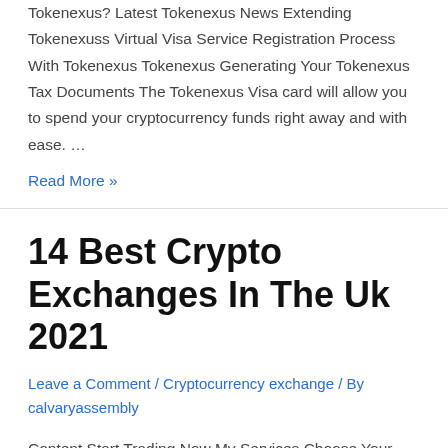Tokenexus? Latest Tokenexus News Extending Tokenexuss Virtual Visa Service Registration Process With Tokenexus Tokenexus Generating Your Tokenexus Tax Documents The Tokenexus Visa card will allow you to spend your cryptocurrency funds right away and with ease. …
Read More »
14 Best Crypto Exchanges In The Uk 2021
Leave a Comment / Cryptocurrency exchange / By calvaryassembly
Content Start Trading Now My Services Choose Your Platform Trader's Guide How Much Money Do You Need To Buy Crypto? More On Crypto We recommend Kraken to experienced traders who would feel comfortable with the advanced interface and